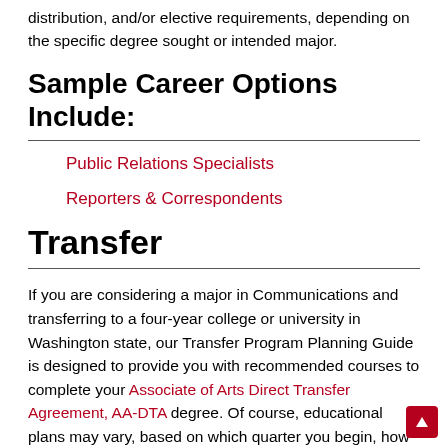distribution, and/or elective requirements, depending on the specific degree sought or intended major.
Sample Career Options Include:
Public Relations Specialists
Reporters & Correspondents
Transfer
If you are considering a major in Communications and transferring to a four-year college or university in Washington state, our Transfer Program Planning Guide is designed to provide you with recommended courses to complete your Associate of Arts Direct Transfer Agreement, AA-DTA degree. Of course, educational plans may vary, based on which quarter you begin, how many credits are taken, placement into Math and English, and your preferred